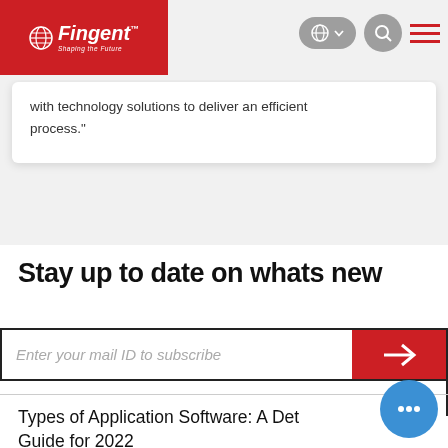[Figure (logo): Fingent logo - red background with globe icon and 'Fingent Shaping the Future' text in white]
with technology solutions to deliver an efficient process."
Stay up to date on whats new
Enter your mail ID to subscribe
Types of Application Software: A Detailed Guide for 2022